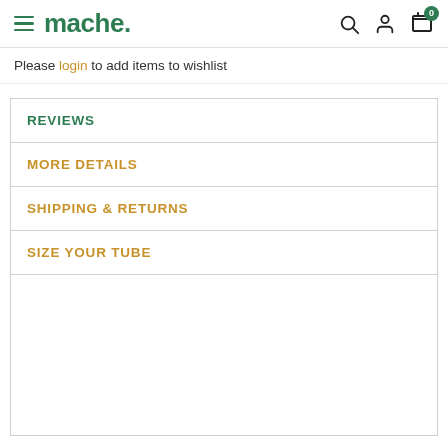mache — navigation header with hamburger menu, search, account, and cart icons
Please login to add items to wishlist
REVIEWS
MORE DETAILS
SHIPPING & RETURNS
SIZE YOUR TUBE